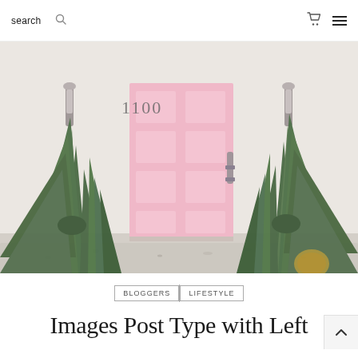search
[Figure (photo): A pink front door numbered 1100 flanked by two large agave plants against a white stucco wall with gravel ground cover]
BLOGGERS   LIFESTYLE
Images Post Type with Left